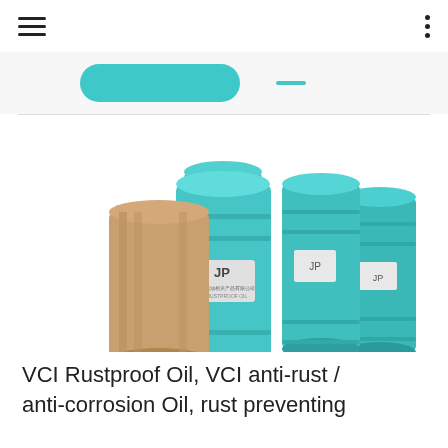[Figure (photo): Multiple large teal/blue industrial oil drums with JP brand logo labels, arranged in a group against a white background.]
VCI Rustproof Oil, VCI anti-rust / anti-corrosion Oil, rust preventing